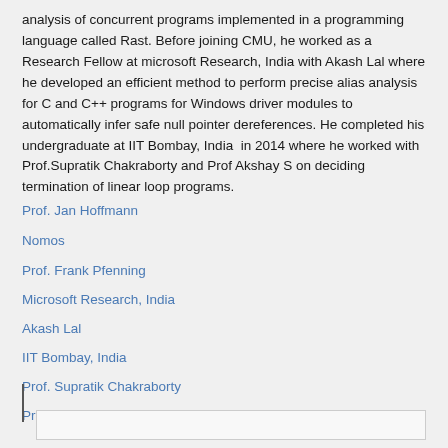analysis of concurrent programs implemented in a programming language called Rast. Before joining CMU, he worked as a Research Fellow at microsoft Research, India with Akash Lal where he developed an efficient method to perform precise alias analysis for C and C++ programs for Windows driver modules to automatically infer safe null pointer dereferences. He completed his undergraduate at IIT Bombay, India  in 2014 where he worked with Prof.Supratik Chakraborty and Prof Akshay S on deciding termination of linear loop programs.
Prof. Jan Hoffmann
Nomos
Prof. Frank Pfenning
Microsoft Research, India
Akash Lal
IIT Bombay, India
Prof. Supratik Chakraborty
Prof. Akshay S